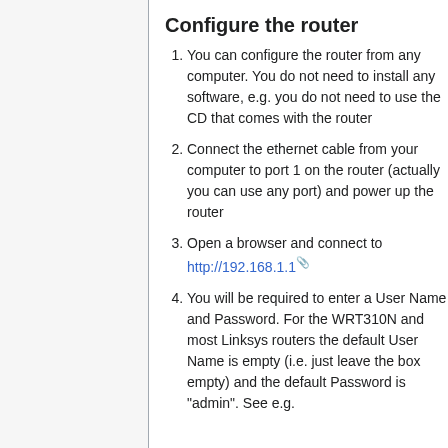Configure the router
You can configure the router from any computer. You do not need to install any software, e.g. you do not need to use the CD that comes with the router
Connect the ethernet cable from your computer to port 1 on the router (actually you can use any port) and power up the router
Open a browser and connect to http://192.168.1.1
You will be required to enter a User Name and Password. For the WRT310N and most Linksys routers the default User Name is empty (i.e. just leave the box empty) and the default Password is "admin". See e.g.